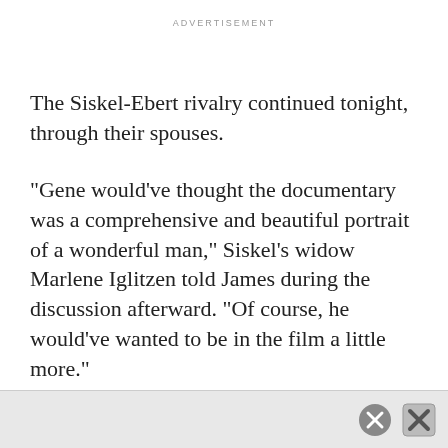ADVERTISEMENT
The Siskel-Ebert rivalry continued tonight, through their spouses.
"Gene would've thought the documentary was a comprehensive and beautiful portrait of a wonderful man," Siskel's widow Marlene Iglitzen told James during the discussion afterward. "Of course, he would've wanted to be in the film a little more."
"Marlene, I want to thank you for being open and honest in the film," Chaz said, "but as an Ebert to a Siskel, Gene was not